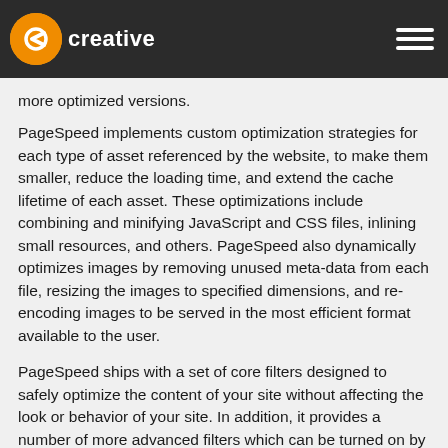[Figure (logo): eCreative logo with orange circular icon and white text on dark navigation bar]
executed when the HTTP server serves the website assets. filter the HTML content, and other filters change references to CSS, JavaScript, or images to point to more optimized versions.
PageSpeed implements custom optimization strategies for each type of asset referenced by the website, to make them smaller, reduce the loading time, and extend the cache lifetime of each asset. These optimizations include combining and minifying JavaScript and CSS files, inlining small resources, and others. PageSpeed also dynamically optimizes images by removing unused meta-data from each file, resizing the images to specified dimensions, and re-encoding images to be served in the most efficient format available to the user.
PageSpeed ships with a set of core filters designed to safely optimize the content of your site without affecting the look or behavior of your site. In addition, it provides a number of more advanced filters which can be turned on by the site owner to gain higher performance improvements.